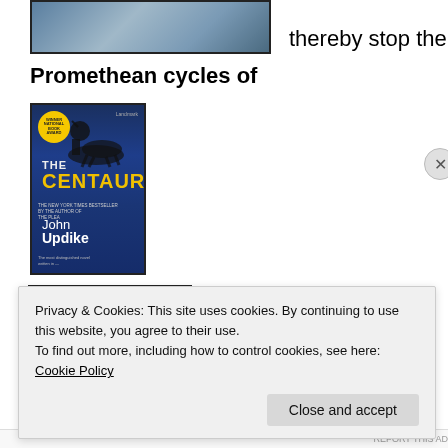[Figure (photo): Partial image at top left showing what appears to be a water or outdoor scene, cropped at the top of the page]
thereby stop the
Promethean cycles of
[Figure (photo): Book cover of 'The Centaur' by John Updike — blue cover with a figure silhouette on top, yellow badge, and author name at bottom]
[Figure (photo): Photo of a blonde woman looking upward against a golden/glittery background]
Privacy & Cookies: This site uses cookies. By continuing to use this website, you agree to their use.
To find out more, including how to control cookies, see here: Cookie Policy
Close and accept